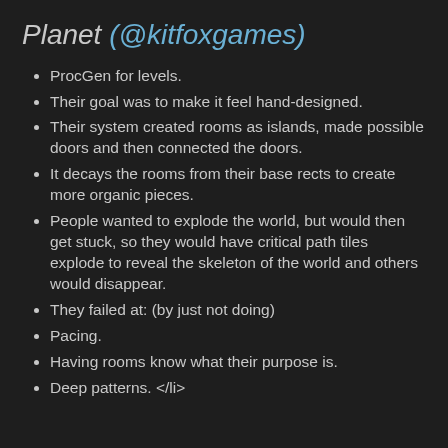Planet (@kitfoxgames)
ProcGen for levels.
Their goal was to make it feel hand-designed.
Their system created rooms as islands, made possible doors and then connected the doors.
It decays the rooms from their base rects to create more organic pieces.
People wanted to explode the world, but would then get stuck, so they would have critical path tiles explode to reveal the skeleton of the world and others would disappear.
They failed at: (by just not doing)
Pacing.
Having rooms know what their purpose is.
Deep patterns. </li>